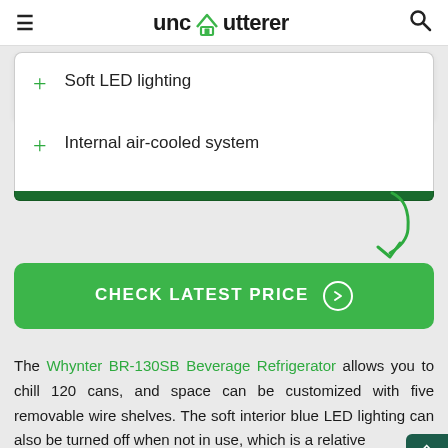unclutterer
Soft LED lighting
Internal air-cooled system
[Figure (illustration): Green curved arrow pointing down toward the CHECK LATEST PRICE button]
[Figure (other): Green CHECK LATEST PRICE button with circle chevron icon]
The Whynter BR-130SB Beverage Refrigerator allows you to chill 120 cans, and space can be customized with five removable wire shelves. The soft interior blue LED lighting can also be turned off when not in use, which is a relatively rare feature with these appliances. The internal